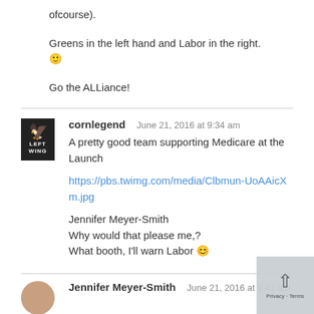ofcourse).
Greens in the left hand and Labor in the right. 🙂
Go the ALLiance!
cornlegend   June 21, 2016 at 9:34 am
A pretty good team supporting Medicare at the Launch
https://pbs.twimg.com/media/ClbmunUoAAicXm.jpg
Jennifer Meyer-Smith
Why would that please me,?
What booth, I'll warn Labor 😊
Jennifer Meyer-Smith   June 21, 2016 at 9:41 am